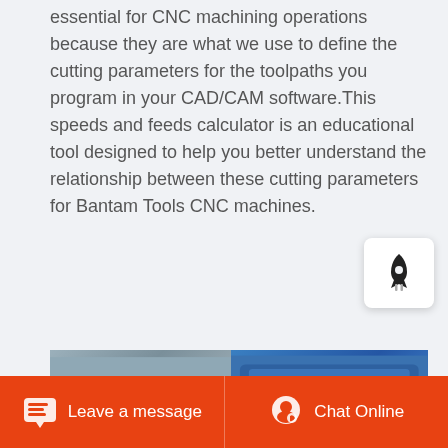essential for CNC machining operations because they are what we use to define the cutting parameters for the toolpaths you program in your CAD/CAM software.This speeds and feeds calculator is an educational tool designed to help you better understand the relationship between these cutting parameters for Bantam Tools CNC machines.
[Figure (other): Orange 'Get More' button]
[Figure (other): White widget with rocket icon]
[Figure (photo): Photo of blue industrial CNC or shredding machine with motor on the left side]
Leave a message   Chat Online